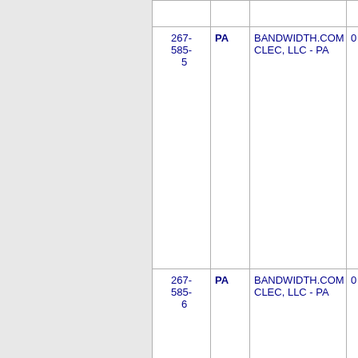| Phone | State | Company | Num |
| --- | --- | --- | --- |
| 267-585-5 | PA | BANDWIDTH.COM CLEC, LLC - PA | 0 |
| 267-585-6 | PA | BANDWIDTH.COM CLEC, LLC - PA | 0 |